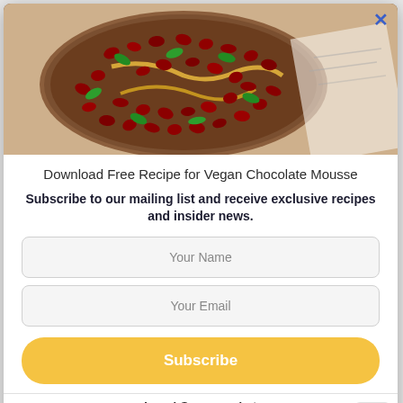[Figure (photo): Overhead view of a chocolate mousse dessert topped with pomegranate seeds and mint leaves on a wooden board]
Download Free Recipe for Vegan Chocolate Mousse
Subscribe to our mailing list and receive exclusive recipes and insider news.
Your Name
Your Email
Subscribe
Local Supermarket ⚡ by Convertful